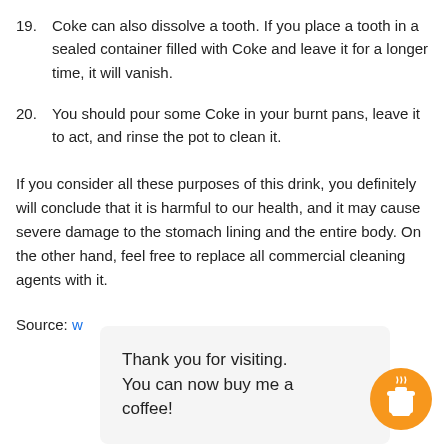19. Coke can also dissolve a tooth. If you place a tooth in a sealed container filled with Coke and leave it for a longer time, it will vanish.
20. You should pour some Coke in your burnt pans, leave it to act, and rinse the pot to clean it.
If you consider all these purposes of this drink, you definitely will conclude that it is harmful to our health, and it may cause severe damage to the stomach lining and the entire body. On the other hand, feel free to replace all commercial cleaning agents with it.
Source: w
Thank you for visiting. You can now buy me a coffee!